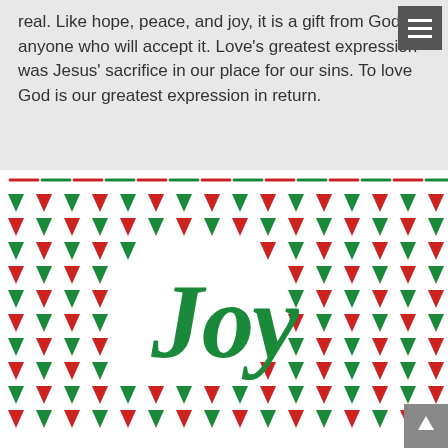real. Like hope, peace, and joy, it is a gift from God to anyone who will accept it. Love's greatest expression was Jesus' sacrifice in our place for our sins. To love God is our greatest expression in return.
[Figure (illustration): Decorative Christmas pattern with alternating red and green triangles/arrows arranged in rows, with the word 'Joy' written in large green cursive script in the center. A dashed red and green border line runs along the top.]